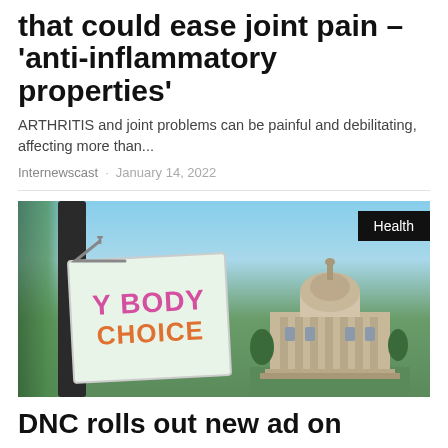that could ease joint pain – 'anti-inflammatory properties'
ARTHRITIS and joint problems can be painful and debilitating, affecting more than...
Internewscast · January 14, 2022
[Figure (photo): Photograph of a protest sign reading 'Y BODY CHOICE' on a hanger attached to a pole, with a government capitol building visible in the background. A 'Health' category badge is in the top right corner.]
DNC rolls out new ad on